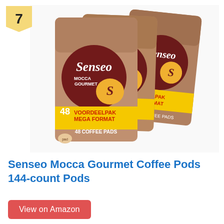7
[Figure (photo): Three packages of Senseo Mocca Gourmet 48 Coffee Pads (Voordeelpak Mega Format), arranged in a stacked/fanned layout showing the front of the brown bags with dark red Senseo logo, yellow banner, and coffee cup imagery.]
Senseo Mocca Gourmet Coffee Pods 144-count Pods
View on Amazon